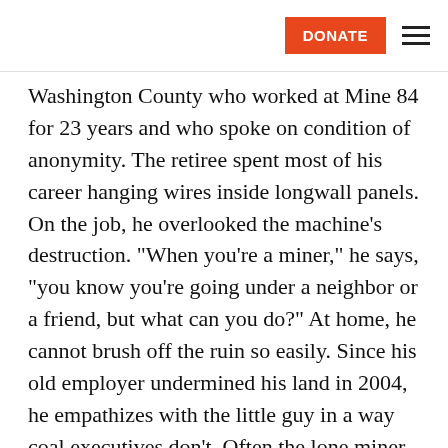DONATE [menu]
Washington County who worked at Mine 84 for 23 years and who spoke on condition of anonymity. The retiree spent most of his career hanging wires inside longwall panels. On the job, he overlooked the machine’s destruction. “When you’re a miner,” he says, “you know you’re going under a neighbor or a friend, but what can you do?” At home, he cannot brush off the ruin so easily. Since his old employer undermined his land in 2004, he empathizes with the little guy in a way coal executives don’t. Often the lone miner at forums, he sees longwall victims as “lost souls” whose plight would make any compassionate person feel bad. He’s even battled Consol ever